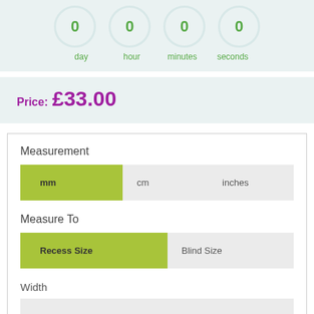[Figure (other): Countdown timer showing 4 circles with value 0 each, labeled day, hour, minutes, seconds in green]
Price: £33.00
Measurement
mm | cm | inches (unit selector buttons, mm selected)
Measure To
Recess Size | Blind Size (selector buttons, Recess Size selected)
Width
Width input field (empty)